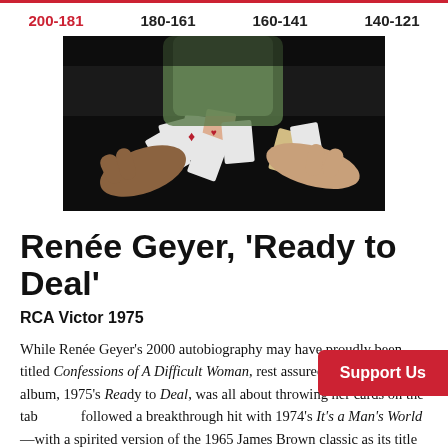200-181  180-161  160-141  140-121
[Figure (photo): A photo showing hands dealing or spreading playing cards on a dark table surface, with one person visible in background.]
Renée Geyer, 'Ready to Deal'
RCA Victor 1975
While Renée Geyer's 2000 autobiography may have proudly been titled Confessions of A Difficult Woman, rest assured the singer's third album, 1975's Ready to Deal, was all about throwing her cards on the table. She followed a breakthrough hit with 1974's It's a Man's World —with a spirited version of the 1965 James Brown classic as its title track. The result was plenty of